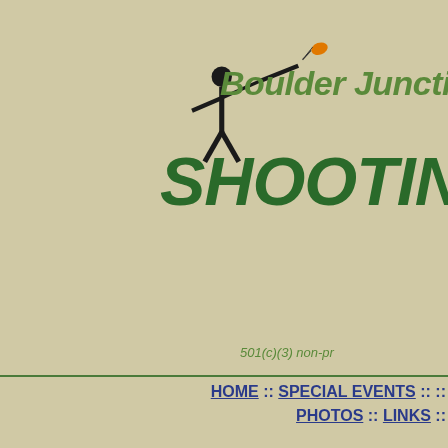[Figure (logo): Boulder Junction Shooting Sports logo with silhouette of person shooting, orange bird/clay target, green italic bold text reading 'Boulder Junction' and large green bold italic 'SHOOTING']
501(c)(3) non-pr
HOME :: SPECIAL EVENTS :: [more] PHOTOS :: LINKS [more]
Li[nks]
UpNorthFishing.com is the site to visit to find out more informatio[n about] beautiful Northwoods of Northern Wisconsin and the Western Upp[er Peninsula]
UpNorthSnow.com is the site to visit to find out more information [about] the beautiful northwoods of Northern Wisconsin and the Western U[pper Peninsula]
UpNorthResorts.com are the sites to visit for information on Resor[ts and places] to stay in the beautiful Northwoods of Northern Wisconsin and the [Western Upper Peninsula]